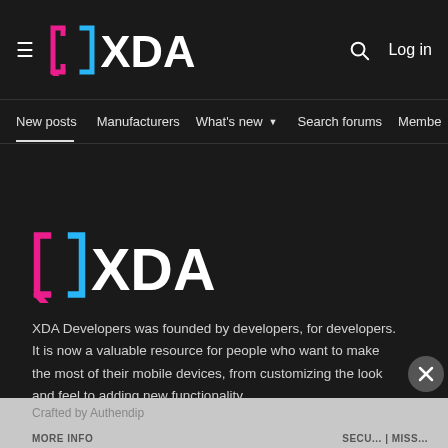XDA Developers navigation bar with logo, hamburger menu, search icon, and Log in button
New posts  Manufacturers  What's new  Search forums  Membe  >
[Figure (logo): XDA Developers large logo with pink bracket left, blue bracket right, and white XDA text]
XDA Developers was founded by developers, for developers. It is now a valuable resource for people who want to make the most of their mobile devices, from customizing the look and feel to adding new functionality.
Crafted by Authendip
MORE INFO
SECU... | MISS...